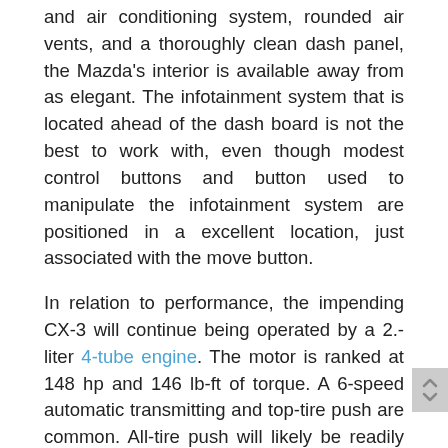and air conditioning system, rounded air vents, and a thoroughly clean dash panel, the Mazda's interior is available away from as elegant. The infotainment system that is located ahead of the dash board is not the best to work with, even though modest control buttons and button used to manipulate the infotainment system are positioned in a excellent location, just associated with the move button.
In relation to performance, the impending CX-3 will continue being operated by a 2.-liter 4-tube engine. The motor is ranked at 148 hp and 146 lb-ft of torque. A 6-speed automatic transmitting and top-tire push are common. All-tire push will likely be readily available.
Each CX-3 toned includes forwards accidents forewarning, automatic unexpected emergency braking, rear cross-targeted traffic notify, blind-spot tracking, lane leaving forewarning, and adaptive